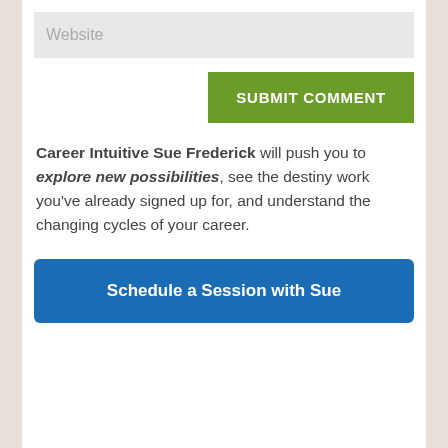Website
SUBMIT COMMENT
Career Intuitive Sue Frederick will push you to explore new possibilities, see the destiny work you've already signed up for, and understand the changing cycles of your career.
Schedule a Session with Sue